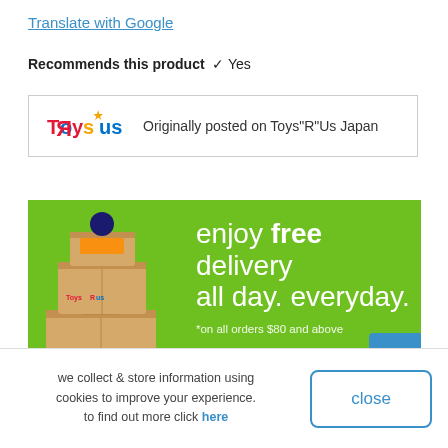Translate with Google
Recommends this product ✓ Yes
Originally posted on Toys"R"Us Japan
[Figure (infographic): Green banner advertisement for Toys R Us showing stacked cardboard boxes with a character peeking out, text reads: enjoy free delivery all day. everyday. *on all orders $80 and above]
we collect & store information using cookies to improve your experience. to find out more click here